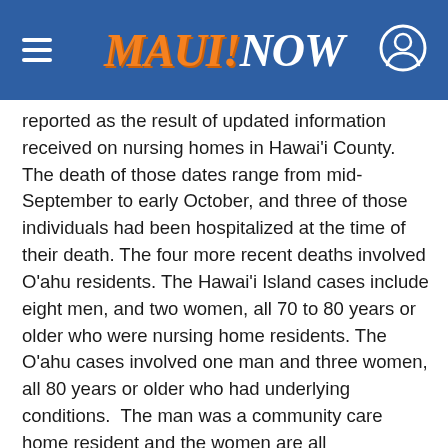MAUI NOW
reported as the result of updated information received on nursing homes in Hawaiʻi County. The death of those dates range from mid-September to early October, and three of those individuals had been hospitalized at the time of their death. The four more recent deaths involved Oʻaahu residents. The Hawaiʻi Island cases include eight men, and two women, all 70 to 80 years or older who were nursing home residents. The Oʻaahu cases involved one man and three women, all 80 years or older who had underlying conditions. The man was a community care home resident and the women are all hospitalized.
(Oct. 20) Hawaiʻi’s COVID-19 death toll increased by two to 189, with both new d…